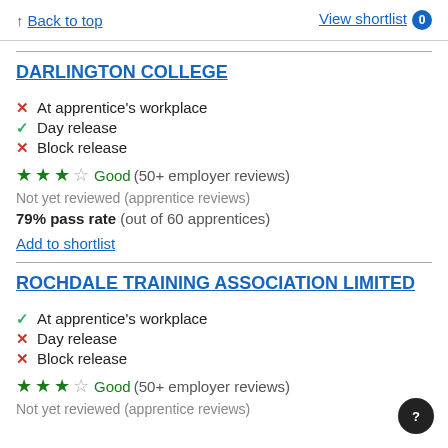↑ Back to top   View shortlist 0
DARLINGTON COLLEGE
✗ At apprentice's workplace
✓ Day release
✗ Block release
★★★☆ Good (50+ employer reviews)
Not yet reviewed (apprentice reviews)
79% pass rate (out of 60 apprentices)
Add to shortlist
ROCHDALE TRAINING ASSOCIATION LIMITED
✓ At apprentice's workplace
✗ Day release
✗ Block release
★★★☆ Good (50+ employer reviews)
Not yet reviewed (apprentice reviews)